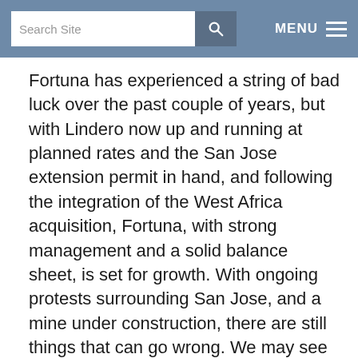Search Site | MENU
Fortuna has experienced a string of bad luck over the past couple of years, but with Lindero now up and running at planned rates and the San Jose extension permit in hand, and following the integration of the West Africa acquisition, Fortuna, with strong management and a solid balance sheet, is set for growth. With ongoing protests surrounding San Jose, and a mine under construction, there are still things that can go wrong. We may see some downside follow-through, and would look to buy additional Fortuna on any further weakness.